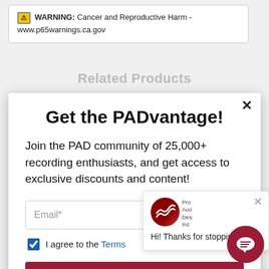⚠ WARNING: Cancer and Reproductive Harm - www.p65warnings.ca.gov
Related Products
Get the PADvantage!
Join the PAD community of 25,000+ recording enthusiasts, and get access to exclusive discounts and content!
Email*
I agree to the Terms
SIGN UP
powered by MailMunch
Hi! Thanks for stopping by!